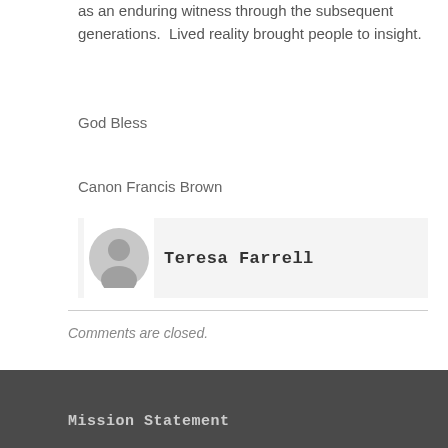as an enduring witness through the subsequent generations.  Lived reality brought people to insight.
God Bless
Canon Francis Brown
[Figure (illustration): User avatar placeholder icon (grey silhouette of a person on light background)]
Teresa Farrell
Comments are closed.
Mission Statement